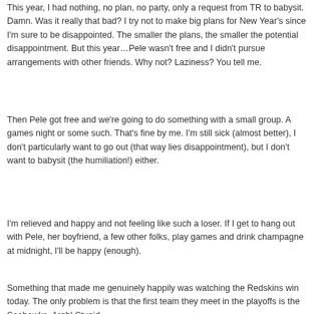This year, I had nothing, no plan, no party, only a request from TR to babysit. Damn. Was it really that bad? I try not to make big plans for New Year's since I'm sure to be disappointed. The smaller the plans, the smaller the potential disappointment. But this year…Pele wasn't free and I didn't pursue arrangements with other friends. Why not? Laziness? You tell me.
Then Pele got free and we're going to do something with a small group. A games night or some such. That's fine by me. I'm still sick (almost better), I don't particularly want to go out (that way lies disappointment), but I don't want to babysit (the humiliation!) either.
I'm relieved and happy and not feeling like such a loser. If I get to hang out with Pele, her boyfriend, a few other folks, play games and drink champagne at midnight, I'll be happy (enough).
Something that made me genuinely happily was watching the Redskins win today. The only problem is that the first team they meet in the playoffs is the Seahawks. Argh! Stupid